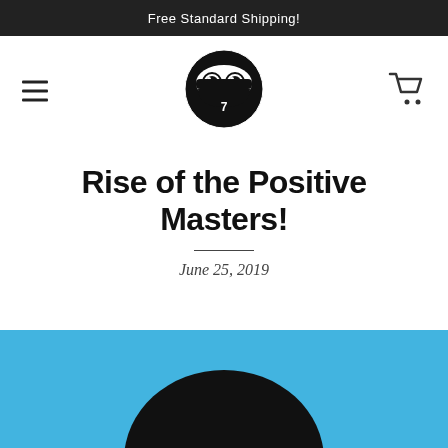Free Standard Shipping!
[Figure (logo): Ninja 7 logo — black circle with cartoon ninja face (two white eyes, mask) and number 7 below]
Rise of the Positive Masters!
June 25, 2019
[Figure (illustration): Blue background with top of a black ninja head/helmet visible at the bottom of the page, cropped]